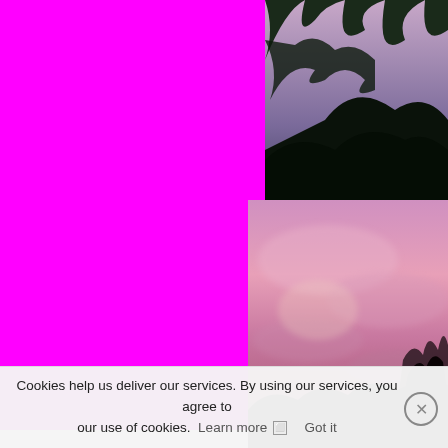[Figure (photo): Solid magenta/fuchsia pink rectangle occupying the left portion of the page]
[Figure (photo): Photograph of dark tree silhouettes against a purple-blue twilight sky, upper right area]
[Figure (photo): Photograph of a pink-purple sunset sky with clouds and dark mountain/tree silhouettes at bottom, lower right area]
Cookies help us deliver our services. By using our services, you agree to our use of cookies. Learn more  Got it